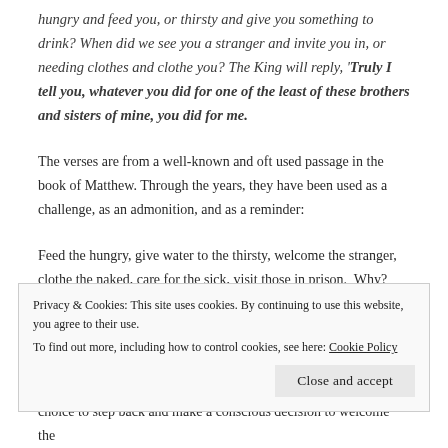hungry and feed you, or thirsty and give you something to drink? When did we see you a stranger and invite you in, or needing clothes and clothe you? The King will reply, 'Truly I tell you, whatever you did for one of the least of these brothers and sisters of mine, you did for me.
The verses are from a well-known and oft used passage in the book of Matthew. Through the years, they have been used as a challenge, as an admonition, and as a reminder:
Feed the hungry, give water to the thirsty, welcome the stranger, clothe the naked, care for the sick, visit those in prison.  Why?
Privacy & Cookies: This site uses cookies. By continuing to use this website, you agree to their use.
To find out more, including how to control cookies, see here: Cookie Policy
choice to step back and make a conscious decision to welcome the